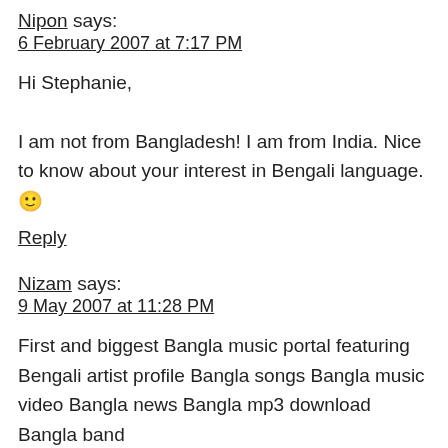Nipon says:
6 February 2007 at 7:17 PM
Hi Stephanie,

I am not from Bangladesh! I am from India. Nice to know about your interest in Bengali language. 🙂
Reply
Nizam says:
9 May 2007 at 11:28 PM
First and biggest Bangla music portal featuring Bengali artist profile Bangla songs Bangla music video Bangla news Bangla mp3 download Bangla band